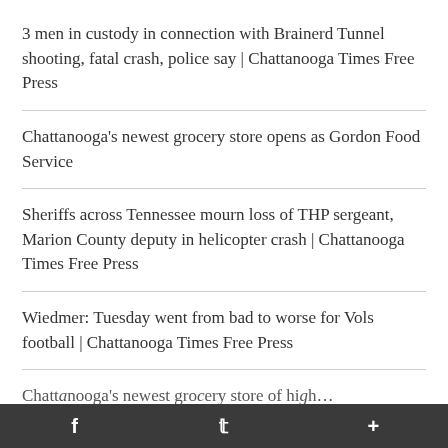3 men in custody in connection with Brainerd Tunnel shooting, fatal crash, police say | Chattanooga Times Free Press
Chattanooga's newest grocery store opens as Gordon Food Service
Sheriffs across Tennessee mourn loss of THP sergeant, Marion County deputy in helicopter crash | Chattanooga Times Free Press
Wiedmer: Tuesday went from bad to worse for Vols football | Chattanooga Times Free Press
Chattanooga…